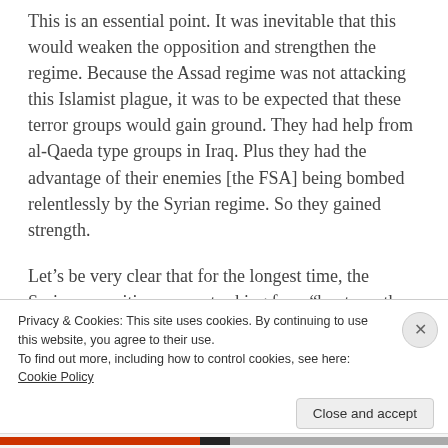This is an essential point. It was inevitable that this would weaken the opposition and strengthen the regime. Because the Assad regime was not attacking this Islamist plague, it was to be expected that these terror groups would gain ground. They had help from al-Qaeda type groups in Iraq. Plus they had the advantage of their enemies [the FSA] being bombed relentlessly by the Syrian regime. So they gained strength.
Let's be very clear that for the longest time, the Syrian opposition was not asking for a “boots on the ground”-style intervention, or even for a bombing campaign led by the U.S. What was being requested
Privacy & Cookies: This site uses cookies. By continuing to use this website, you agree to their use.
To find out more, including how to control cookies, see here: Cookie Policy